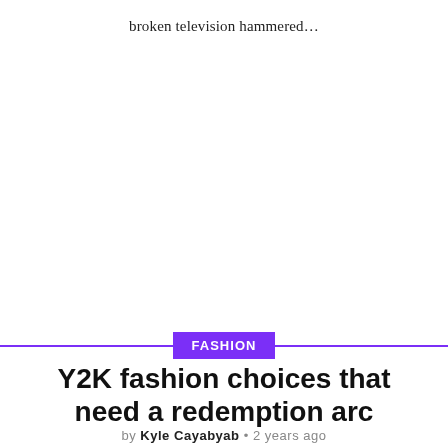broken television hammered...
FASHION
Y2K fashion choices that need a redemption arc
by Kyle Cayabyab • 2 years ago